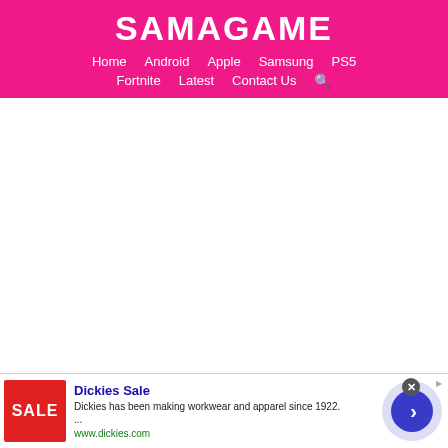SAMAGAME
Home  Android  Apple  Samsung  PS5  Fortnite  Latest  Contact Us
[Figure (screenshot): White blank content area of the website]
Dickies Sale
Dickies has been making workwear and apparel since 1922.
...
www.dickies.com